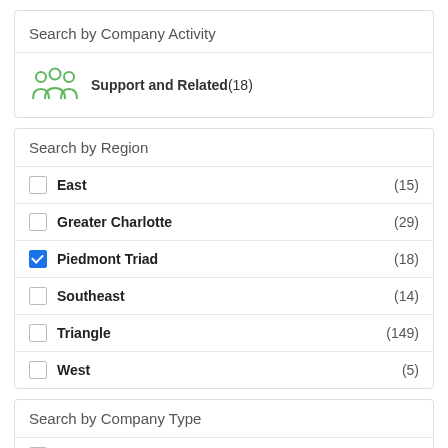Search by Company Activity
Support and Related (18)
Search by Region
East (15)
Greater Charlotte (29)
Piedmont Triad (18)
Southeast (14)
Triangle (149)
West (5)
Search by Company Type